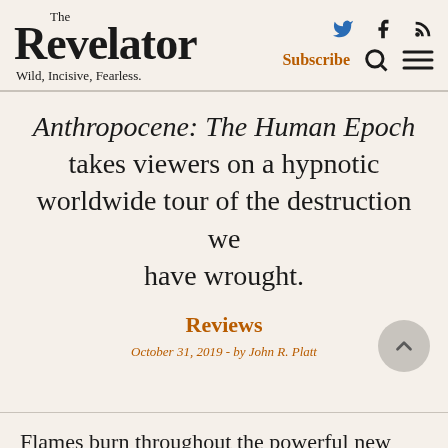The Revelator — Wild, Incisive, Fearless.
Anthropocene: The Human Epoch takes viewers on a hypnotic worldwide tour of the destruction we have wrought.
Reviews
October 31, 2019 - by John R. Platt
Flames burn throughout the powerful new